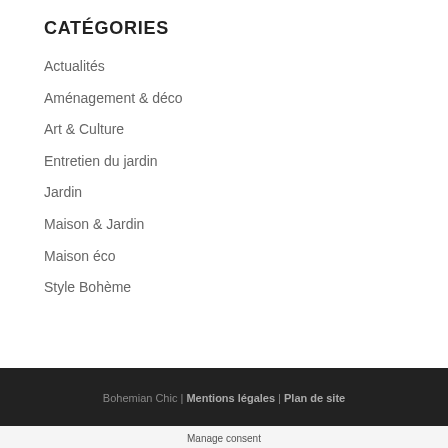CATÉGORIES
Actualités
Aménagement & déco
Art & Culture
Entretien du jardin
Jardin
Maison & Jardin
Maison éco
Style Bohème
Bohemian Chic | Mentions légales | Plan de site
Manage consent